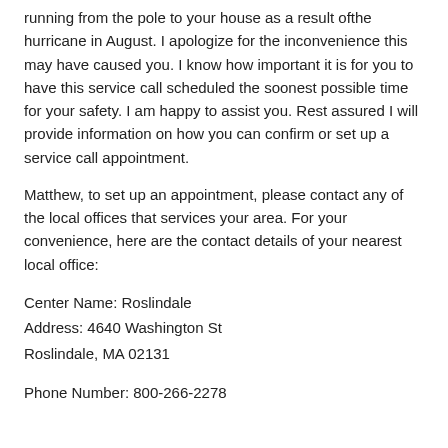running from the pole to your house as a result ofthe hurricane in August. I apologize for the inconvenience this may have caused you. I know how important it is for you to have this service call scheduled the soonest possible time for your safety. I am happy to assist you. Rest assured I will provide information on how you can confirm or set up a service call appointment.
Matthew, to set up an appointment, please contact any of the local offices that services your area. For your convenience, here are the contact details of your nearest local office:
Center Name: Roslindale
Address: 4640 Washington St
Roslindale, MA 02131
Phone Number: 800-266-2278